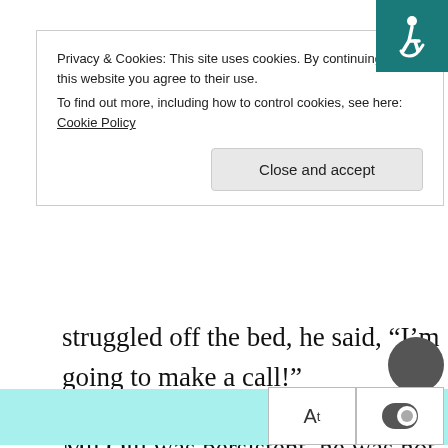Privacy & Cookies: This site uses cookies. By continuing to use this website you agree to their use.
To find out more, including how to control cookies, see here: Cookie Policy
[Close and accept]
struggled off the bed, he said, “I’m going to make a call!”
Mu Qiu was persistent, he was not going to let him go, so he used all of his limbs to press ZhongLi FengBai down.
“Let go!” ZhongLi FengBai screamed and struggled, Mu Qiu had no other choice, he directly turned around and sat on him.